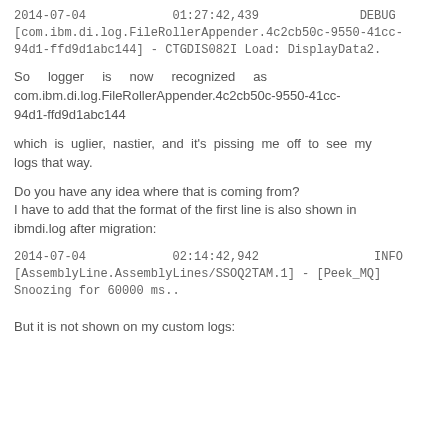2014-07-04    01:27:42,439    DEBUG
[com.ibm.di.log.FileRollerAppender.4c2cb50c-9550-41cc-94d1-ffd9d1abc144] - CTGDIS082I Load: DisplayData2.
So logger is now recognized as com.ibm.di.log.FileRollerAppender.4c2cb50c-9550-41cc-94d1-ffd9d1abc144
which is uglier, nastier, and it's pissing me off to see my logs that way.
Do you have any idea where that is coming from?
I have to add that the format of the first line is also shown in ibmdi.log after migration:
2014-07-04    02:14:42,942    INFO
[AssemblyLine.AssemblyLines/SSOQ2TAM.1] - [Peek_MQ] Snoozing for 60000 ms..
But it is not shown on my custom logs: